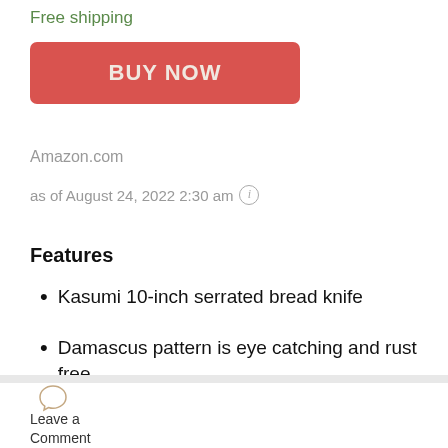Free shipping
[Figure (other): Red BUY NOW button]
Amazon.com
as of August 24, 2022 2:30 am ℹ
Features
Kasumi 10-inch serrated bread knife
Damascus pattern is eye catching and rust free
Leave a Comment